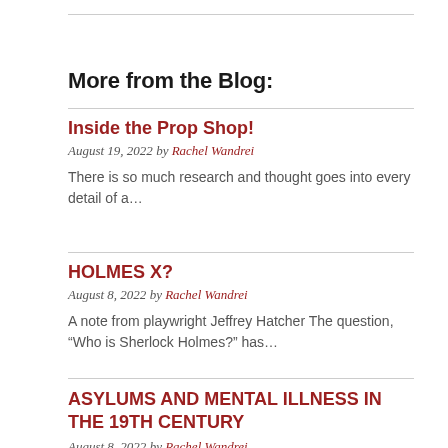More from the Blog:
Inside the Prop Shop!
August 19, 2022 by Rachel Wandrei
There is so much research and thought goes into every detail of a...
HOLMES X?
August 8, 2022 by Rachel Wandrei
A note from playwright Jeffrey Hatcher The question, “Who is Sherlock Holmes?” has...
ASYLUMS AND MENTAL ILLNESS IN THE 19TH CENTURY
August 8, 2022 by Rachel Wandrei
As the central setting of Holmes and Watson and